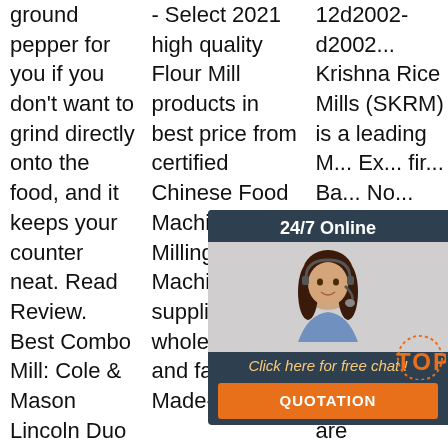ground pepper for you if you don't want to grind directly onto the food, and it keeps your counter neat. Read Review. Best Combo Mill: Cole & Mason Lincoln Duo Salt and Pepper Grinder Combo at Amazon. This attractive
- Select 2021 high quality Flour Mill products in best price from certified Chinese Food Machinery, Milling Machine suppliers, wholesalers and factory on Made-in ...
[Figure (other): Orange 'Get Price' button]
12d2002-d2002... Krishna Rice Mills (SKRM) is a leading M... Ex... fir... Ba... No... Ri... Pe... in... Established in the year 1998 in Taraori, Haryana (India), we are
[Figure (infographic): 24/7 Online chat widget with agent photo, 'Click here for free chat!' text, and QUOTATION button in dark blue/orange]
[Figure (logo): Orange TOP badge with dotted circle]